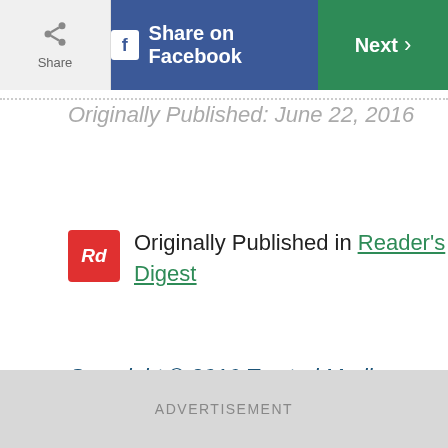Share | Share on Facebook | Next
Originally Published: June 22, 2016
Originally Published in Reader's Digest
Copyright © 2016 Trusted Media Brands, Inc.
ADVERTISEMENT